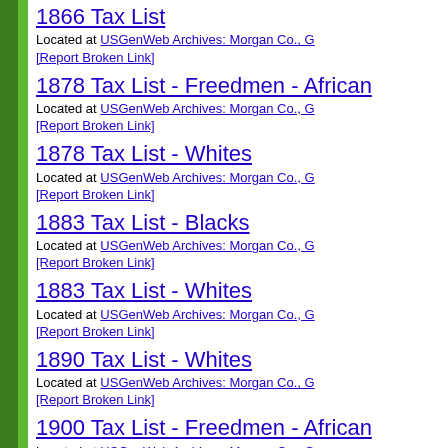1866 Tax List
Located at USGenWeb Archives: Morgan Co., G
[Report Broken Link]
1878 Tax List - Freedmen - African
Located at USGenWeb Archives: Morgan Co., G
[Report Broken Link]
1878 Tax List - Whites
Located at USGenWeb Archives: Morgan Co., G
[Report Broken Link]
1883 Tax List - Blacks
Located at USGenWeb Archives: Morgan Co., G
[Report Broken Link]
1883 Tax List - Whites
Located at USGenWeb Archives: Morgan Co., G
[Report Broken Link]
1890 Tax List - Whites
Located at USGenWeb Archives: Morgan Co., G
[Report Broken Link]
1900 Tax List - Freedmen - African
Located at USGenWeb Archives: Morgan Co., G